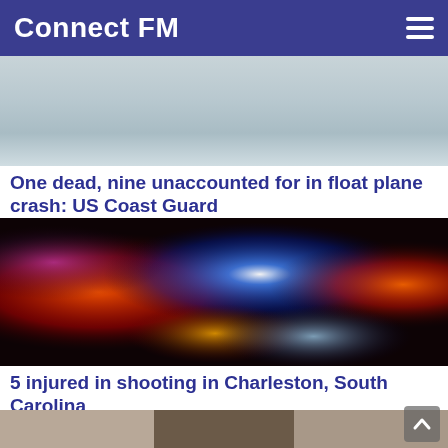Connect FM
[Figure (photo): Aerial or horizon view of ocean/water, grey-blue tones]
One dead, nine unaccounted for in float plane crash: US Coast Guard
[Figure (photo): Blurred police car lights at night, red and blue flashing lights]
5 injured in shooting in Charleston, South Carolina
[Figure (photo): Partial view of a person outdoors, cropped]